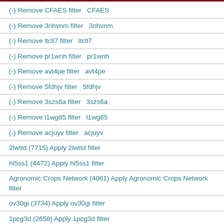(-) Remove CFAES filter   CFAES
(-) Remove 3nhvnm filter   3nhvnm
(-) Remove ltcll7 filter   ltcll7
(-) Remove pr1wnh filter   pr1wnh
(-) Remove avt4pe filter   avt4pe
(-) Remove 5fdhjv filter   5fdhjv
(-) Remove 3szs6a filter   3szs6a
(-) Remove l1wg85 filter   l1wg85
(-) Remove acjuyv filter   acjuyv
2lwttd (7715) Apply 2lwttd filter
hl5ss1 (4472) Apply hl5ss1 filter
Agronomic Crops Network (4061) Apply Agronomic Crops Network filter
ov30gi (3734) Apply ov30gi filter
1pcg3d (2658) Apply 1pcg3d filter